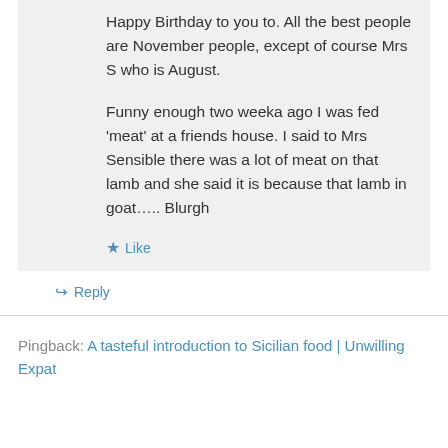Happy Birthday to you to. All the best people are November people, except of course Mrs S who is August.

Funny enough two weeka ago I was fed 'meat' at a friends house. I said to Mrs Sensible there was a lot of meat on that lamb and she said it is because that lamb in goat….. Blurgh
★ Like
↳ Reply
Pingback: A tasteful introduction to Sicilian food | Unwilling Expat